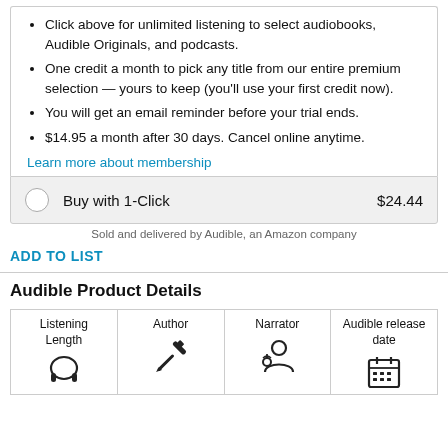Click above for unlimited listening to select audiobooks, Audible Originals, and podcasts.
One credit a month to pick any title from our entire premium selection — yours to keep (you'll use your first credit now).
You will get an email reminder before your trial ends.
$14.95 a month after 30 days. Cancel online anytime.
Learn more about membership
Buy with 1-Click   $24.44
Sold and delivered by Audible, an Amazon company
ADD TO LIST
Audible Product Details
| Listening Length | Author | Narrator | Audible release date |
| --- | --- | --- | --- |
| [headphone icon] | [pencil icon] | [narrator icon] | [calendar icon] |